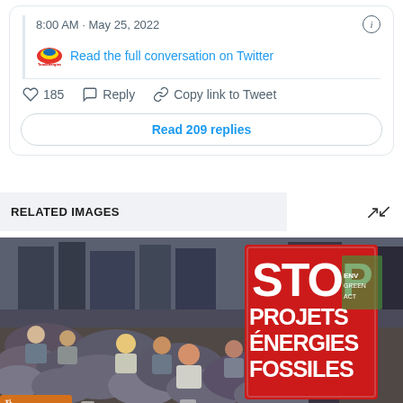8:00 AM · May 25, 2022
Read the full conversation on Twitter
185  Reply  Copy link to Tweet
Read 209 replies
RELATED IMAGES
[Figure (photo): Crowd of protesters sitting on a street. A large red sign reads STOP PROJETS ÉNERGIES FOSSILES (Stop Fossil Energy Projects).]